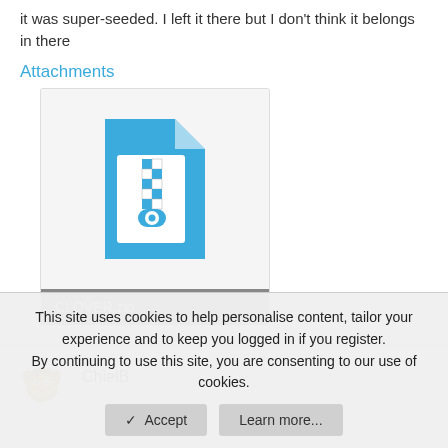it was super-seeded. I left it there but I don't think it belongs in there
Attachments
[Figure (illustration): ZIP file icon — blue document shape with zipper pattern and circle at bottom, labeled CLOVER.zip below in a grey bar]
ChielB
This site uses cookies to help personalise content, tailor your experience and to keep you logged in if you register.
By continuing to use this site, you are consenting to our use of cookies.